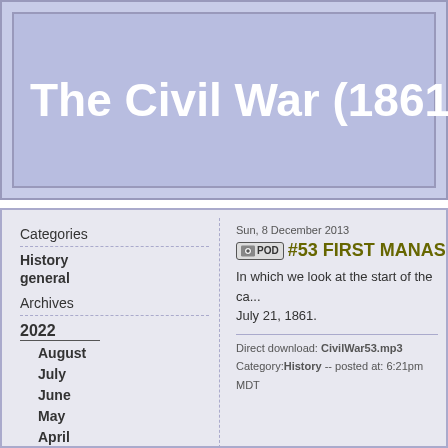The Civil War (1861-1865):
Categories
History general
Archives
2022
August
July
June
May
April
March
February
January
2021
December
November
October
September
Sun, 8 December 2013
#53 FIRST MANASS
In which we look at the start of the ca... July 21, 1861.
Direct download: CivilWar53.mp3
Category: History -- posted at: 6:21pm MDT